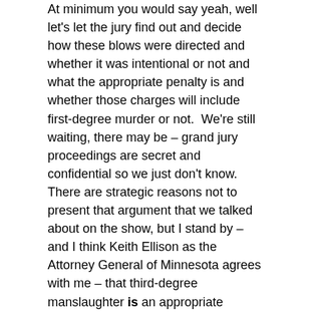At minimum you would say yeah, well let's let the jury find out and decide how these blows were directed and whether it was intentional or not and what the appropriate penalty is and whether those charges will include first-degree murder or not.  We're still waiting, there may be – grand jury proceedings are secret and confidential so we just don't know.  There are strategic reasons not to present that argument that we talked about on the show, but I stand by – and I think Keith Ellison as the Attorney General of Minnesota agrees with me – that third-degree manslaughter is an appropriate offense here.
So now that gets to the second half of the argument.  They've added second-degree murder.  Why did I exclude that and is it appropriate here?
Thomas:   That's the question!